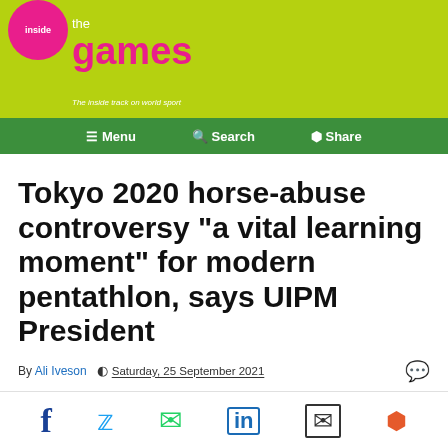Inside the Games — The inside track on world sport
Menu | Search | Share
Tokyo 2020 horse-abuse controversy "a vital learning moment" for modern pentathlon, says UIPM President
By Ali Iveson   Saturday, 25 September 2021
[Figure (other): Social sharing icons: Facebook, Twitter, WhatsApp, LinkedIn, Email, Share]